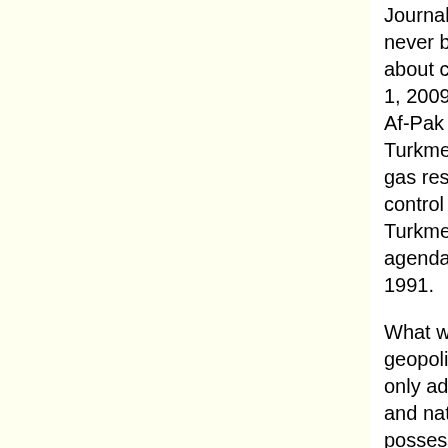Journal 1 (See Gary Olson, Afghanistan has never been the 'good and necessary' war; it's about control of oil, The Morning Call, October 1, 2009). Military escalation under the extended Af-Pak war bears a relationship to TAPI. Turkmenistan possesses third largest natural gas reserves after Russia and Iran. Strategic control over the transport routes out of Turkmenistan have been part of Washington's agenda since the collapse of the Soviet union in 1991.
What was rarely contemplated in pipeline geopolitics, however, is that Afghanistan is not only adjacent to countries which are rich in oil and natural gas (e.g Turkmenistan), it also possesses within its territory sizeable untapped reserves of natural gas, coal and oil. Soviet estimates of the 1970s placed "Afghanistan's 'explored' (proved plus probable) gas reserves at about